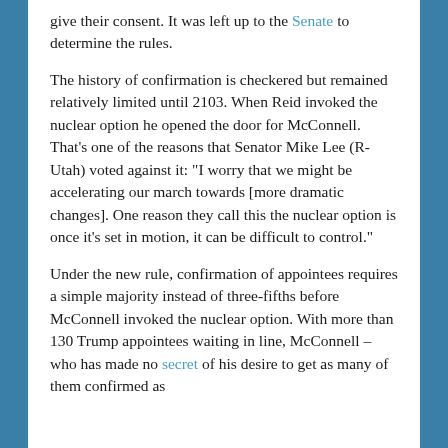give their consent. It was left up to the Senate to determine the rules.
The history of confirmation is checkered but remained relatively limited until 2103. When Reid invoked the nuclear option he opened the door for McConnell. That’s one of the reasons that Senator Mike Lee (R-Utah) voted against it: “I worry that we might be accelerating our march towards [more dramatic changes]. One reason they call this the nuclear option is once it’s set in motion, it can be difficult to control.”
Under the new rule, confirmation of appointees requires a simple majority instead of three-fifths before McConnell invoked the nuclear option. With more than 130 Trump appointees waiting in line, McConnell – who has made no secret of his desire to get as many of them confirmed as